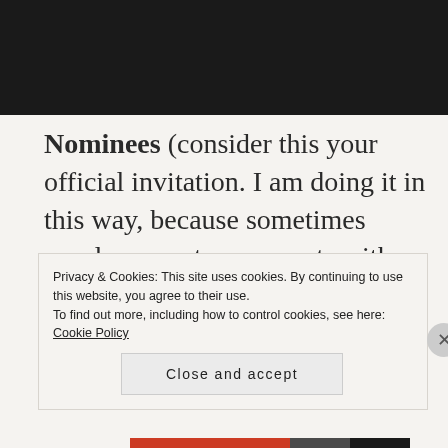[Figure (photo): Dark/black header image bar at the top of the page]
Nominees (consider this your official invitation. I am doing it in this way, because sometimes wordpress puts comments with links into spam).
BrewNSpew
The Broad Spectrum Life
Privacy & Cookies: This site uses cookies. By continuing to use this website, you agree to their use.
To find out more, including how to control cookies, see here: Cookie Policy
Close and accept